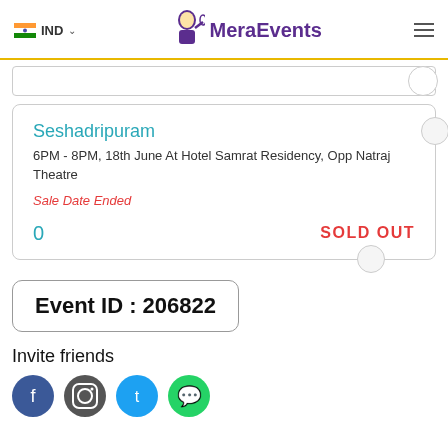IND MeraEvents
Seshadripuram
6PM - 8PM, 18th June At Hotel Samrat Residency, Opp Natraj Theatre
Sale Date Ended
0
SOLD OUT
Event ID : 206822
Invite friends